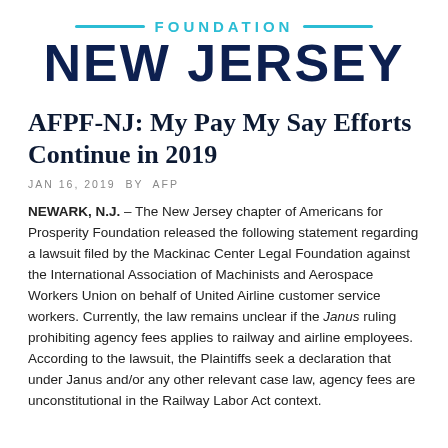FOUNDATION NEW JERSEY
AFPF-NJ: My Pay My Say Efforts Continue in 2019
JAN 16, 2019 BY AFP
NEWARK, N.J. – The New Jersey chapter of Americans for Prosperity Foundation released the following statement regarding a lawsuit filed by the Mackinac Center Legal Foundation against the International Association of Machinists and Aerospace Workers Union on behalf of United Airline customer service workers. Currently, the law remains unclear if the Janus ruling prohibiting agency fees applies to railway and airline employees. According to the lawsuit, the Plaintiffs seek a declaration that under Janus and/or any other relevant case law, agency fees are unconstitutional in the Railway Labor Act context.